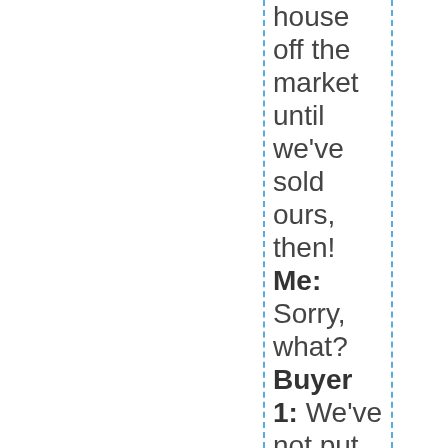house off the market until we've sold ours, then! Me: Sorry, what? Buyer 1: We've not put our house on the market yet. We were waiting until we